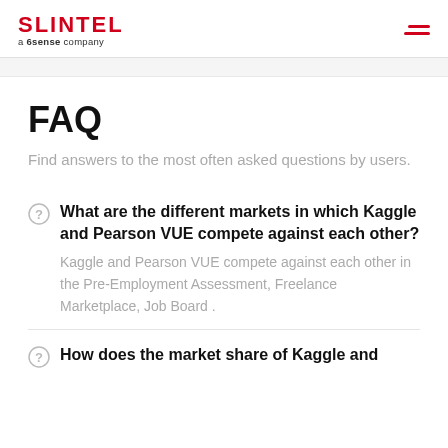SLINTEL a 6sense company
FAQ
Find answers to the most often asked questions by users.
What are the different markets in which Kaggle and Pearson VUE compete against each other?
Kaggle and Pearson VUE compete against each other in the Pre-Employment Assessment, Freelance Marketplace, Job Board .
How does the market share of Kaggle and